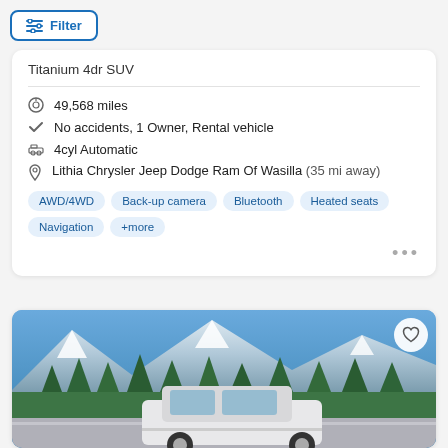Filter
Titanium 4dr SUV
49,568 miles
No accidents, 1 Owner, Rental vehicle
4cyl Automatic
Lithia Chrysler Jeep Dodge Ram Of Wasilla (35 mi away)
AWD/4WD  Back-up camera  Bluetooth  Heated seats  Navigation  +more
[Figure (photo): White SUV parked in front of scenic mountain and forest landscape with blue sky]